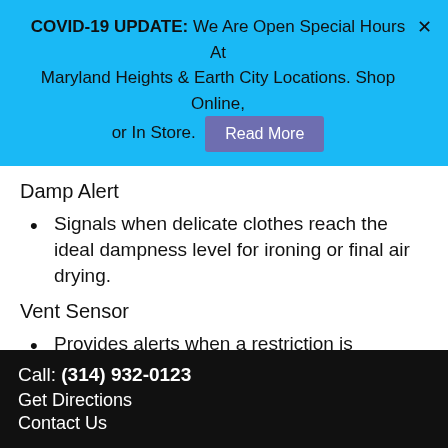COVID-19 UPDATE: We Are Open Special Hours At Maryland Heights & Earth City Locations. Shop Online, or In Store. Read More
Damp Alert
Signals when delicate clothes reach the ideal dampness level for ironing or final air drying.
Vent Sensor
Provides alerts when a restriction is detected
Call: (314) 932-0123
Get Directions
Contact Us